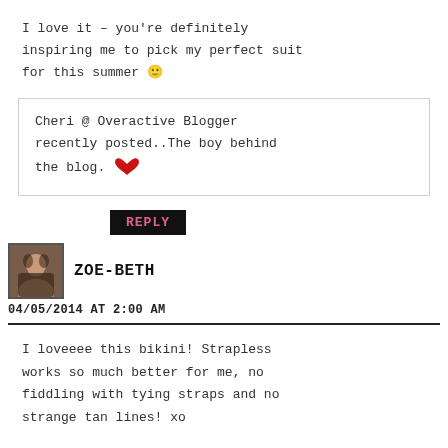I love it – you're definitely inspiring me to pick my perfect suit for this summer 🙂
Cheri @ Overactive Blogger recently posted..The boy behind the blog. ❤
REPLY
ZOE-BETH
04/05/2014 AT 2:00 AM
I loveeee this bikini! Strapless works so much better for me, no fiddling with tying straps and no strange tan lines! xo